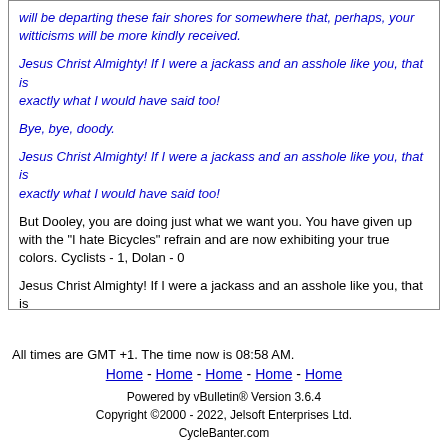will be departing these fair shores for somewhere that, perhaps, your witticisms will be more kindly received.
Jesus Christ Almighty! If I were a jackass and an asshole like you, that is exactly what I would have said too!
Bye, bye, doody.
Jesus Christ Almighty! If I were a jackass and an asshole like you, that is exactly what I would have said too!
But Dooley, you are doing just what we want you. You have given up with the "I hate Bicycles" refrain and are now exhibiting your true colors. Cyclists - 1, Dolan - 0
Jesus Christ Almighty! If I were a jackass and an asshole like you, that is exactly what I would have said too!
..
All times are GMT +1. The time now is 08:58 AM.
Home - Home - Home - Home - Home
Powered by vBulletin® Version 3.6.4
Copyright ©2000 - 2022, Jelsoft Enterprises Ltd.
CycleBanter.com